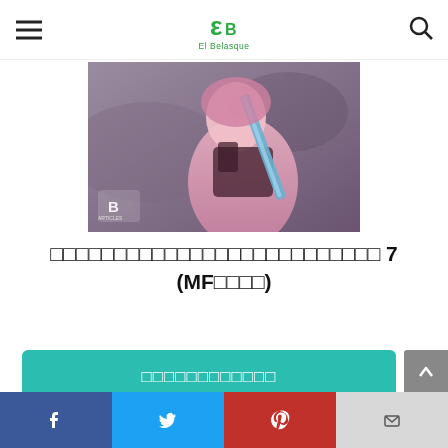El Belasque
[Figure (illustration): Anime/manga style illustration of a character in purple/pink outfit holding a sword, with a watermark logo in bottom left]
□□□□□□□□□□□□□□□□□□□□□□□□□□ 7 (MF□□□□)
□□□□□□□□□□□□
Amazon.co.jp
Features
Facebook Twitter Pinterest Mail